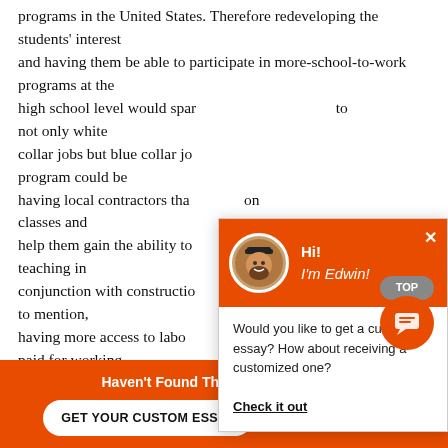programs in the United States. Therefore redeveloping the students' interest and having them be able to participate in more-school-to-work programs at the high school level would spar... to not only white collar jobs but blue collar jo... program could be having local contractors tha... on classes and help them gain the ability to... teaching in conjunction with constructio... t to mention, having more access to labor internships where stude... t paid for working
[Figure (other): Chat popup overlay with orange header showing avatar photo and 'Hi! I'm Edwin!' greeting, body text 'Would you like to get a custom essay? How about receiving a customized one?' with a 'Check it out' underlined link]
Haven't Found The Essay You Want?
GET YOUR CUSTOM ESSAY    For Only $13.90/page